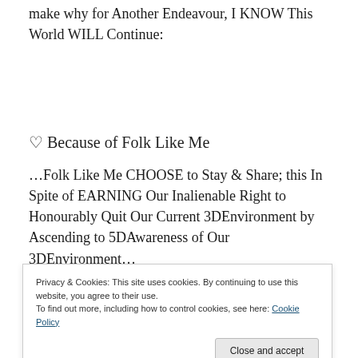make why for Another Endeavour, I KNOW This World WILL Continue:
♡ Because of Folk Like Me
…Folk Like Me CHOOSE to Stay & Share; this In Spite of EARNING Our Inalienable Right to Honourably Quit Our Current 3DEnvironment by Ascending to 5DAwareness of Our 3DEnvironment…
Privacy & Cookies: This site uses cookies. By continuing to use this website, you agree to their use.
To find out more, including how to control cookies, see here: Cookie Policy
Close and accept
recommended; this is due to the 3DDiscomfort factors